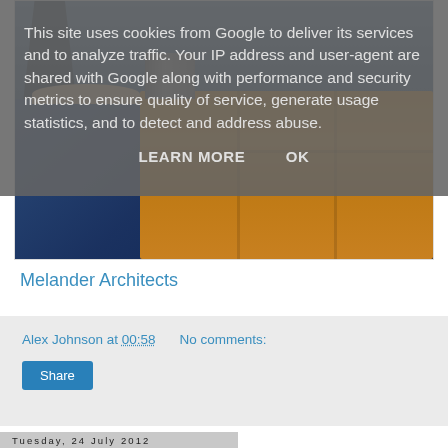[Figure (photo): Photo of a wooden shelf/bookcase with books, dark blue floor, and person's legs/feet visible on the left. Wood has horizontal grain lines and vertical dividers.]
Melander Architects
Alex Johnson at 00:58    No comments:
Share
Tuesday, 24 July 2012
This site uses cookies from Google to deliver its services and to analyze traffic. Your IP address and user-agent are shared with Google along with performance and security metrics to ensure quality of service, generate usage statistics, and to detect and address abuse.
LEARN MORE    OK